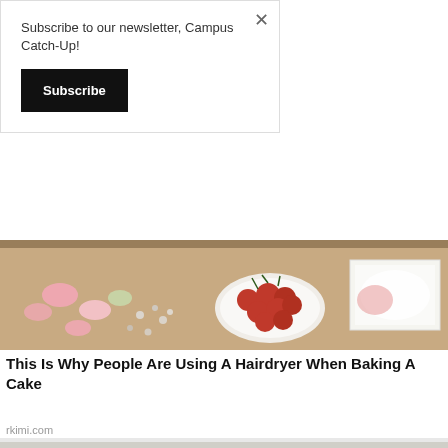Subscribe to our newsletter, Campus Catch-Up!
Subscribe
[Figure (photo): A table with baking ingredients including macarons, cherries on a plate, and a cake box with cream]
This Is Why People Are Using A Hairdryer When Baking A Cake
rkimi.com
[Figure (photo): A brown cat sitting in front of a toilet in a white-tiled bathroom]